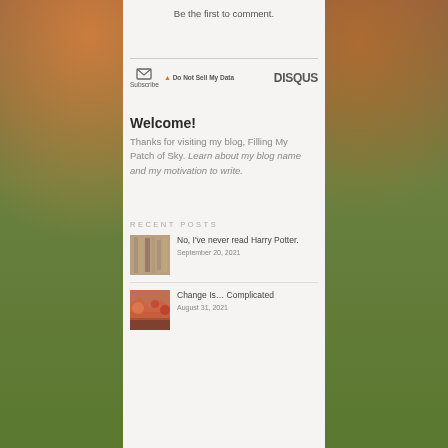Be the first to comment.
Subscribe  ⚠ Do Not Sell My Data  DISQUS
Welcome!
Thanks for visiting my blog, Filling My Patch of Sky. Learn about my blog name and my motivation to write.
RECENT POSTS
No, I've never read Harry Potter.
September 20, 2021
Change Is... Complicated
August 31, 2021